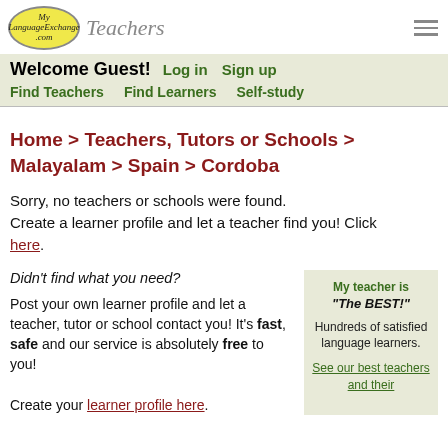MyLanguageExchange.com Teachers
Welcome Guest! Log in Sign up
Find Teachers   Find Learners   Self-study
Home > Teachers, Tutors or Schools > Malayalam > Spain > Cordoba
Sorry, no teachers or schools were found. Create a learner profile and let a teacher find you! Click here.
Didn't find what you need?
Post your own learner profile and let a teacher, tutor or school contact you! It's fast, safe and our service is absolutely free to you!
Create your learner profile here.
My teacher is "The BEST!" Hundreds of satisfied language learners. See our best teachers and their